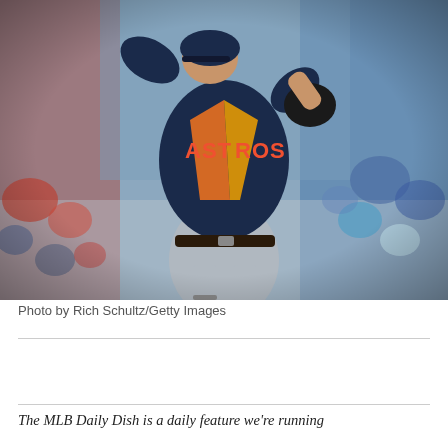[Figure (photo): Houston Astros baseball pitcher in mid-throw wearing navy blue and orange uniform with 'ASTROS' on jersey, photographed mid-delivery with blurred crowd in background. Photo by Rich Schultz/Getty Images.]
Photo by Rich Schultz/Getty Images
The MLB Daily Dish is a daily feature we're running